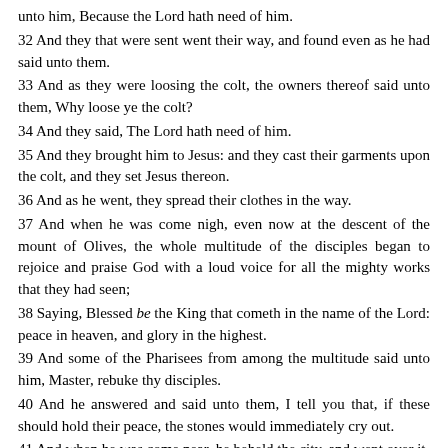unto him, Because the Lord hath need of him.
32 And they that were sent went their way, and found even as he had said unto them.
33 And as they were loosing the colt, the owners thereof said unto them, Why loose ye the colt?
34 And they said, The Lord hath need of him.
35 And they brought him to Jesus: and they cast their garments upon the colt, and they set Jesus thereon.
36 And as he went, they spread their clothes in the way.
37 And when he was come nigh, even now at the descent of the mount of Olives, the whole multitude of the disciples began to rejoice and praise God with a loud voice for all the mighty works that they had seen;
38 Saying, Blessed be the King that cometh in the name of the Lord: peace in heaven, and glory in the highest.
39 And some of the Pharisees from among the multitude said unto him, Master, rebuke thy disciples.
40 And he answered and said unto them, I tell you that, if these should hold their peace, the stones would immediately cry out.
41 And when he was come near, he beheld the city, and wept over it,
42 Saying, If thou hadst known, even thou, at least in this thy day, the